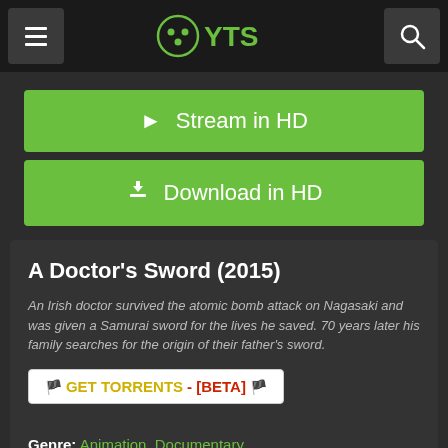YTS navigation bar with hamburger menu, YTS logo, and search icon
▶ Stream in HD
⬇ Download in HD
A Doctor's Sword (2015)
An Irish doctor survived the atomic bomb attack on Nagasaki and was given a Samurai sword for the lives he saved. 70 years later his family searches for the origin of their father's sword.
🏴 GET TORRENTS - [BETA] 🏴
Genre: Animation, Documentary
Director: Gary Lennon
Actors: N/A
Country: Ireland, Japan
Duration: 70
Quality: HD